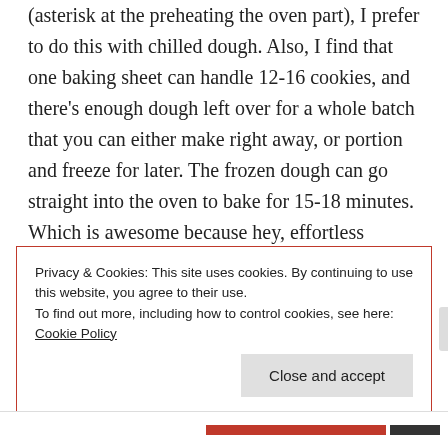(asterisk at the preheating the oven part), I prefer to do this with chilled dough. Also, I find that one baking sheet can handle 12-16 cookies, and there's enough dough left over for a whole batch that you can either make right away, or portion and freeze for later. The frozen dough can go straight into the oven to bake for 15-18 minutes. Which is awesome because hey, effortless cookies at some point in the future!
Privacy & Cookies: This site uses cookies. By continuing to use this website, you agree to their use.
To find out more, including how to control cookies, see here: Cookie Policy